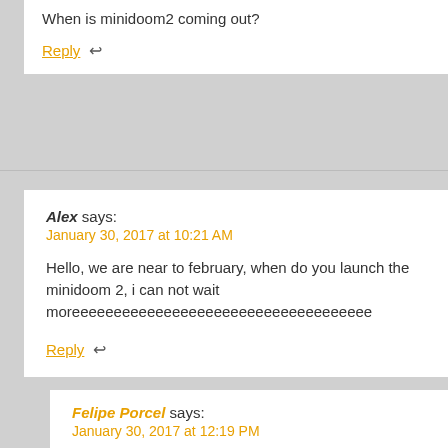When is minidoom2 coming out?
Reply ↩
Alex says:
January 30, 2017 at 10:21 AM
Hello, we are near to february, when do you launch the minidoom 2, i can not wait moreeeeeeeeeeeeeeeeeeeeeeeeeeeeeeeeee
Reply ↩
Felipe Porcel says:
January 30, 2017 at 12:19 PM